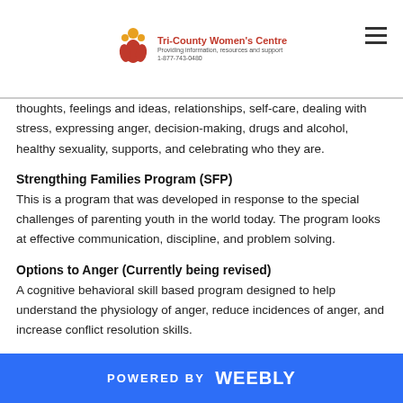Tri-County Women's Centre — Providing information, resources and support — 1-877-743-0480
thoughts, feelings and ideas, relationships, self-care, dealing with stress, expressing anger, decision-making, drugs and alcohol, healthy sexuality, supports, and celebrating who they are.
Strengthing Families Program (SFP)
This is a program that was developed in response to the special challenges of parenting youth in the world today. The program looks at effective communication, discipline, and problem solving.
Options to Anger (Currently being revised)
A cognitive behavioral skill based program designed to help understand the physiology of anger, reduce incidences of anger, and increase conflict resolution skills.
POWERED BY weebly